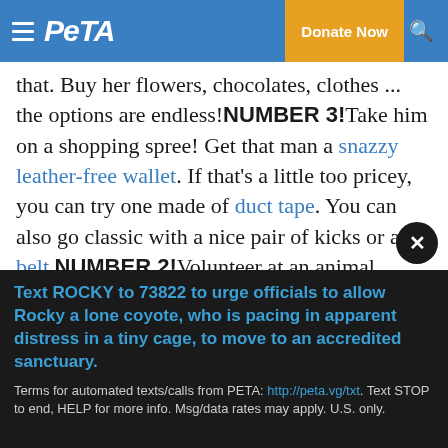PETA — Donate Now
that. Buy her flowers, chocolates, clothes ... the options are endless! NUMBER 3! Take him on a shopping spree! Get that man a snazzy leather-free wallet. If that's a little too pricey, you can try one made of duct tape. You can also go classic with a nice pair of kicks or a belt. NUMBER 2! Volunteer at an animal sanctuary together. Oh my word! Can you hear my heart pitter-patter? My personal favorite is The Elephant Sanctuary. It's probably the greatest thing I can think of. If you have no idea of the torturous conditions from which some of these magnificent creatures are rescued, look here and then here. Now that you are rightfully enraged, go
Text ROCKY to 73822 to urge officials to allow Rocky a lone coyote, who is pacing in apparent distress in a tiny cage, to move to an accredited sanctuary.
Terms for automated texts/calls from PETA: http://peta.vg/txt. Text STOP to end, HELP for more info. Msg/data rates may apply. U.S. only.